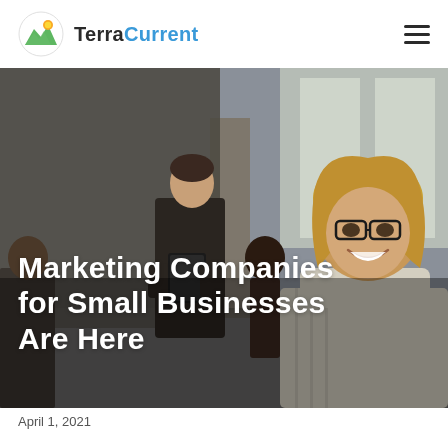TerraCurrent
[Figure (photo): Office scene with two people in a modern workspace; a smiling woman with glasses and blonde hair in foreground, a man holding a tablet in background]
Marketing Companies for Small Businesses Are Here
April 1, 2021